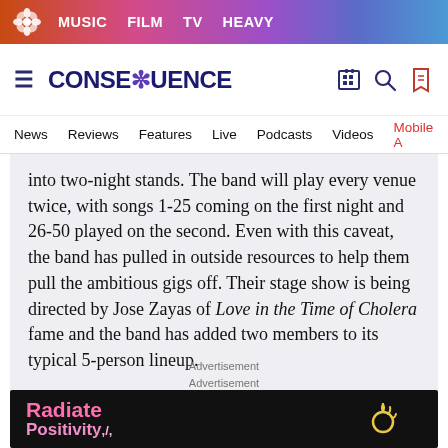MUSIC  FILM  TV  HEAVY
CONSEQUENCE
News  Reviews  Features  Live  Podcasts  Videos  Mobile A
into two-night stands. The band will play every venue twice, with songs 1-25 coming on the first night and 26-50 played on the second. Even with this caveat, the band has pulled in outside resources to help them pull the ambitious gigs off. Their stage show is being directed by Jose Zayas of Love in the Time of Cholera fame and the band has added two members to its typical 5-person lineup.
Advertisement
Advertisement
[Figure (photo): Dark background image with 'Radiate Positivity' text in pink letters on the left side and a yellow sun illustration on the right]